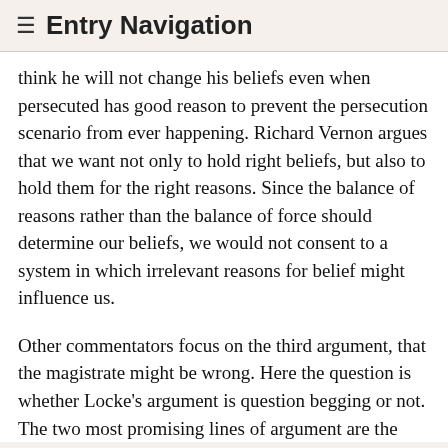≡ Entry Navigation
think he will not change his beliefs even when persecuted has good reason to prevent the persecution scenario from ever happening. Richard Vernon argues that we want not only to hold right beliefs, but also to hold them for the right reasons. Since the balance of reasons rather than the balance of force should determine our beliefs, we would not consent to a system in which irrelevant reasons for belief might influence us.
Other commentators focus on the third argument, that the magistrate might be wrong. Here the question is whether Locke's argument is question begging or not. The two most promising lines of argument are the following. Wootton argues that there are very good reasons, from the standpoint of a given individual, for thinking that governments will be wrong about which religion is true. Governments are motivated by the quest for power, not truth, and are unlikely to be good guides in religious matters. Since there are so many different religions held by rulers, if only one is true then likely my own ruler's